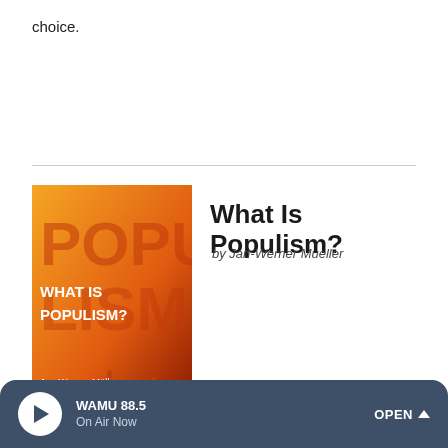choice.
[Figure (illustration): Book cover of 'What Is Populism?' by Jan-Werner Müller. Orange and red gradient background with crowd silhouettes and large text reading 'WHAT IS POPULISM?' and author name 'Jan-Werner Müller'.]
What Is Populism?
by Jan-Werner Mueller
WAMU 88.5 On Air Now OPEN ^